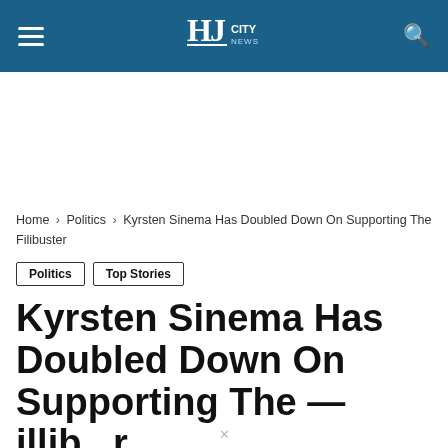HJ City News — site header with hamburger menu, logo, and search icon
Home › Politics › Kyrsten Sinema Has Doubled Down On Supporting The Filibuster
Politics
Top Stories
Kyrsten Sinema Has Doubled Down On Supporting The Filibuster